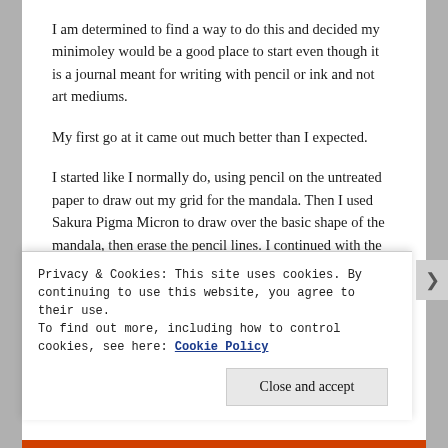I am determined to find a way to do this and decided my minimoley would be a good place to start even though it is a journal meant for writing with pencil or ink and not art mediums.
My first go at it came out much better than I expected.
I started like I normally do, using pencil on the untreated paper to draw out my grid for the mandala. Then I used Sakura Pigma Micron to draw over the basic shape of the mandala, then erase the pencil lines. I continued with the micron to draw in more details until I was completely satisfied with the whole page. I had added some doodles
Privacy & Cookies: This site uses cookies. By continuing to use this website, you agree to their use.
To find out more, including how to control cookies, see here: Cookie Policy
Close and accept